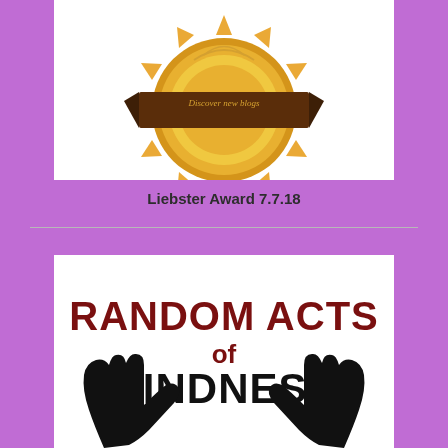[Figure (illustration): Liebster Award badge - circular medal with brown ribbon banner reading 'Discover new blogs', gold/orange sunburst design]
Liebster Award 7.7.18
[Figure (illustration): Random Acts of Kindness logo - dark red bold text 'RANDOM ACTS of KINDNESS' with two black silhouette hands cupped underneath on white background]